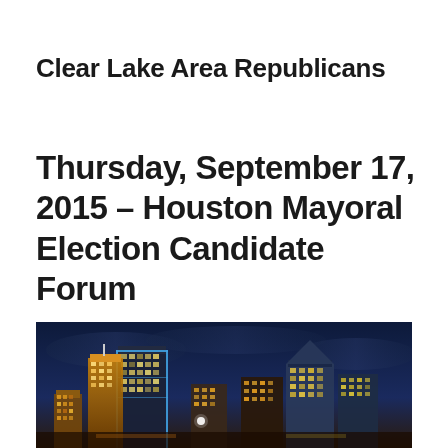Clear Lake Area Republicans
Thursday, September 17, 2015 – Houston Mayoral Election Candidate Forum
[Figure (photo): Night photograph of the Houston city skyline showing illuminated skyscrapers against a dark blue cloudy sky]